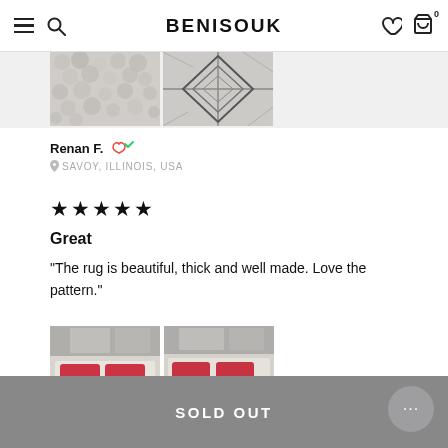BENISOUK
[Figure (photo): Two close-up photos of a textured rug — one showing fluffy wool texture, one showing a geometric diamond pattern]
Renan F. ✓ SAVOY, ILLINOIS, USA
★★★★★
Great
“The rug is beautiful, thick and well made. Love the pattern.”
[Figure (photo): Two photos of a bedroom with a rug on the floor — beds with white linens and red pillows, rug visible on floor]
SOLD OUT